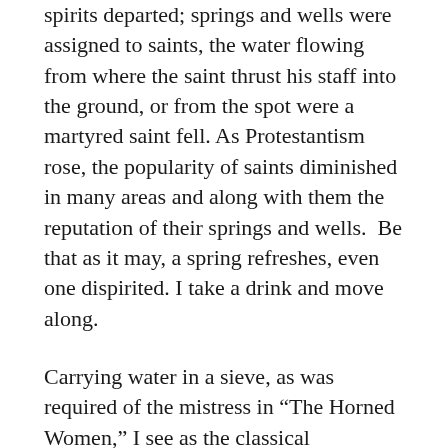spirits departed; springs and wells were assigned to saints, the water flowing from where the saint thrust his staff into the ground, or from the spot were a martyred saint fell. As Protestantism rose, the popularity of saints diminished in many areas and along with them the reputation of their springs and wells.  Be that as it may, a spring refreshes, even one dispirited. I take a drink and move along.
Carrying water in a sieve, as was required of the mistress in “The Horned Women,” I see as the classical impossible task. Shakespeare refers to it in “Much Ado About Nothing”, when Leonato says to Antonio, “I pray thee, cease thy counsel, which falls into mine ears as profitless as water in a sieve.”  There also is a Buddhist story of a master and a student contemplating the implications of water in a sieve. What our